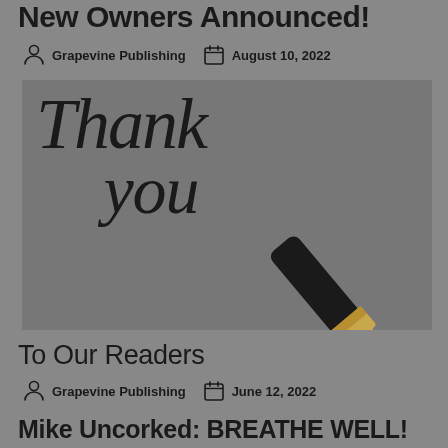New Owners Announced!
Grapevine Publishing   August 10, 2022
[Figure (photo): Thank you written in cursive calligraphy with a fountain pen nib in the foreground on a gray background]
To Our Readers
Grapevine Publishing   June 12, 2022
Mike Uncorked: BREATHE WELL!